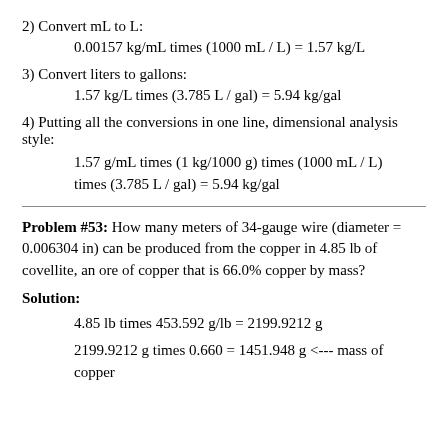2) Convert mL to L:
0.00157 kg/mL times (1000 mL / L) = 1.57 kg/L
3) Convert liters to gallons:
1.57 kg/L times (3.785 L / gal) = 5.94 kg/gal
4) Putting all the conversions in one line, dimensional analysis style:
1.57 g/mL times (1 kg/1000 g) times (1000 mL / L) times (3.785 L / gal) = 5.94 kg/gal
Problem #53: How many meters of 34-gauge wire (diameter = 0.006304 in) can be produced from the copper in 4.85 lb of covellite, an ore of copper that is 66.0% copper by mass?
Solution:
4.85 lb times 453.592 g/lb = 2199.9212 g
2199.9212 g times 0.660 = 1451.948 g <--- mass of copper